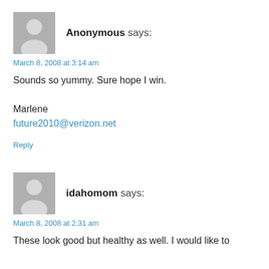[Figure (illustration): Gray placeholder avatar icon showing silhouette of person]
Anonymous says:
March 8, 2008 at 3:14 am
Sounds so yummy. Sure hope I win.

Marlene
future2010@verizon.net
Reply
[Figure (illustration): Gray placeholder avatar icon showing silhouette of person]
idahomom says:
March 8, 2008 at 2:31 am
These look good but healthy as well. I would like to